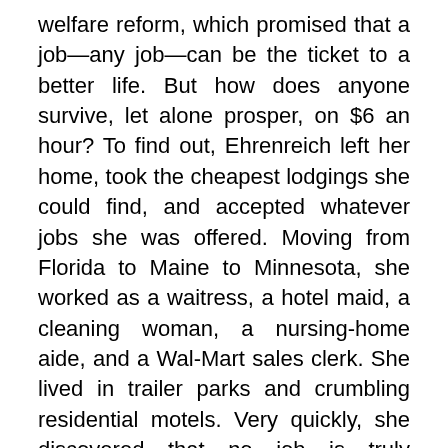welfare reform, which promised that a job—any job—can be the ticket to a better life. But how does anyone survive, let alone prosper, on $6 an hour? To find out, Ehrenreich left her home, took the cheapest lodgings she could find, and accepted whatever jobs she was offered. Moving from Florida to Maine to Minnesota, she worked as a waitress, a hotel maid, a cleaning woman, a nursing-home aide, and a Wal-Mart sales clerk. She lived in trailer parks and crumbling residential motels. Very quickly, she discovered that no job is truly "unskilled," that even the lowliest occupations require exhausting mental and muscular effort. She also learned that one job is not enough; you need at least two if you int to live indoors. Nickel and Dimed reveals low-rent America in all its tenacity, anxiety, and surprising generosity—a land of Big Boxes, fast food, and